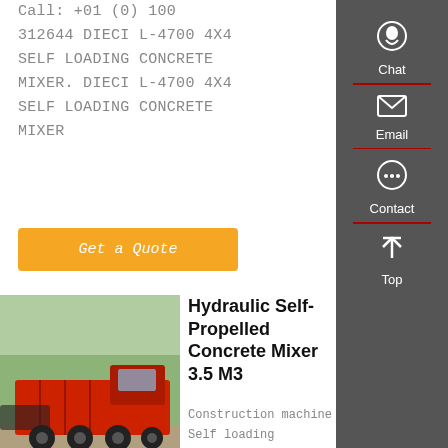Call: +01 (0) 100 312644 DIECI L-4700 4X4 SELF LOADING CONCRETE MIXER. DIECI L-4700 4X4 SELF LOADING CONCRETE MIXER
Get a Quote
[Figure (photo): Red dump truck / concrete mixer truck parked on a lot with trees in background]
Hydraulic Self-Propelled Concrete Mixer 3.5 M3
Construction machine Self loading concrete mixer truck 3.5 m3.